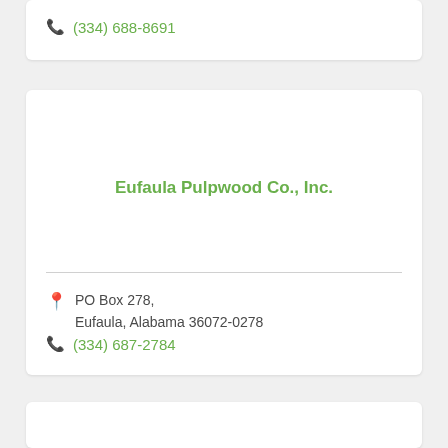(334) 688-8691
Eufaula Pulpwood Co., Inc.
PO Box 278, Eufaula, Alabama 36072-0278
(334) 687-2784